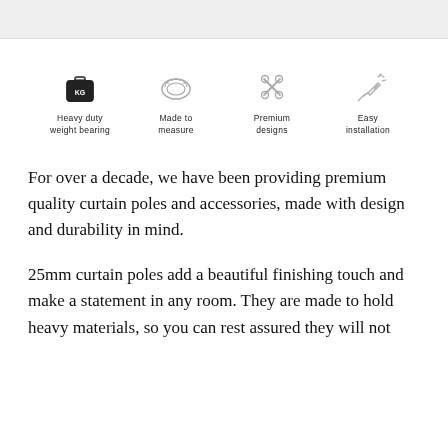[Figure (infographic): Four icons in a row: Heavy duty weight bearing (weight/KG icon), Made to measure (tape measure icon), Premium designs (scissors/cross icon), Easy installation (drill/tool icon)]
For over a decade, we have been providing premium quality curtain poles and accessories, made with design and durability in mind.
25mm curtain poles add a beautiful finishing touch and make a statement in any room. They are made to hold heavy materials, so you can rest assured they will not